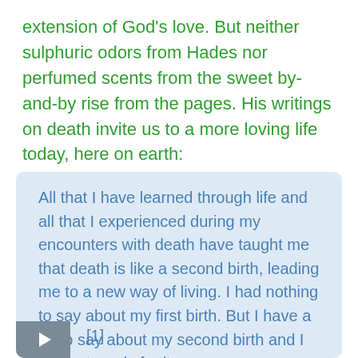extension of God's love. But neither sulphuric odors from Hades nor perfumed scents from the sweet by-and-by rise from the pages. His writings on death invite us to a more loving life today, here on earth:
All that I have learned through life and all that I experienced during my encounters with death have taught me that death is like a second birth, leading me to a new way of living. I had nothing to say about my first birth. But I have a lot to say about my second birth and I can get ready for it. [1]